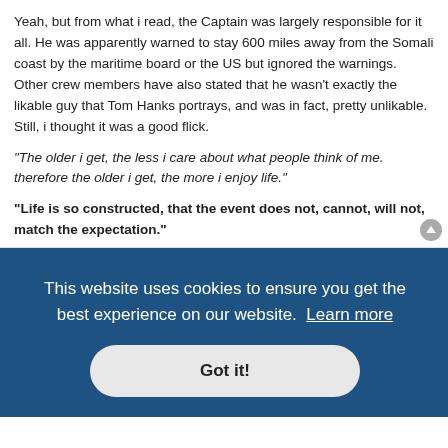Yeah, but from what i read, the Captain was largely responsible for it all. He was apparently warned to stay 600 miles away from the Somali coast by the maritime board or the US but ignored the warnings. Other crew members have also stated that he wasn't exactly the likable guy that Tom Hanks portrays, and was in fact, pretty unlikable. Still, i thought it was a good flick.
"The older i get, the less i care about what people think of me. therefore the older i get, the more i enjoy life."
"Life is so constructed, that the event does not, cannot, will not, match the expectation."
[Figure (screenshot): Forum toolbar with Post Reply button and formatting icons]
[Figure (screenshot): Pagination bar showing 8451 posts, pages 1, 03, 04, 05 (active), 06, 07, 313 with navigation arrows]
[Figure (screenshot): Cookie consent overlay: 'This website uses cookies to ensure you get the best experience on our website. Learn more' with Got it! button]